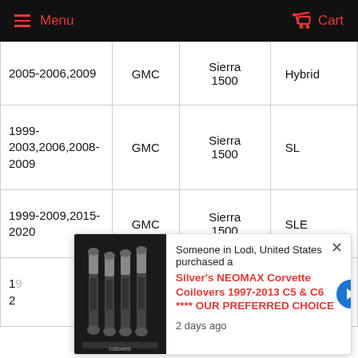Menu   Cart
| Year | Make | Model | Trim |
| --- | --- | --- | --- |
| 2005-2006,2009 | GMC | Sierra 1500 | Hybrid |
| 1999-2003,2006,2008-2009 | GMC | Sierra 1500 | SL |
| 1999-2009,2015-2020 | GMC | Sierra 1500 | SLE |
| 19__ 2___ | GMC | Sierra 1500 | WT |
[Figure (screenshot): Popup notification: Someone in Lodi, United States purchased a Silver's NEOMAX Corvette Coilovers 1997-2013 C5 & C6 **** OUR PREFERRED CHOICE. 2 days ago. Shows product image of coilovers.]